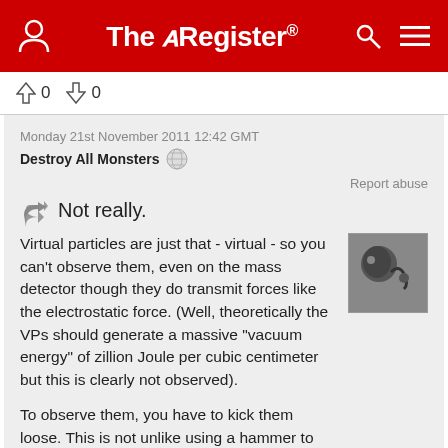The Register
↑0  ↓0
Monday 21st November 2011 12:42 GMT
Destroy All Monsters
Report abuse
Not really.
Virtual particles are just that - virtual - so you can't observe them, even on the mass detector though they do transmit forces like the electrostatic force. (Well, theoretically the VPs should generate a massive "vacuum energy" of zillion Joule per cubic centimeter but this is clearly not observed).

To observe them, you have to kick them loose. This is not unlike using a hammer to break a fat piece of concrete out of a smooth wall. The wall is just the whole set of possible concrete pieces, but you don't get see the pieces. To see a piece you have